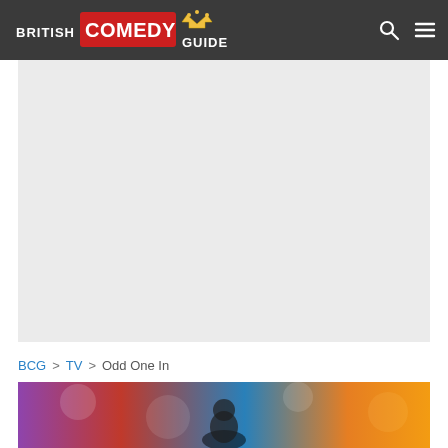British Comedy Guide
[Figure (other): Large light grey advertisement or placeholder content area]
BCG > TV > Odd One In
[Figure (photo): Partial bottom image strip showing colourful background (purple, red, blue, orange) with a person partially visible]